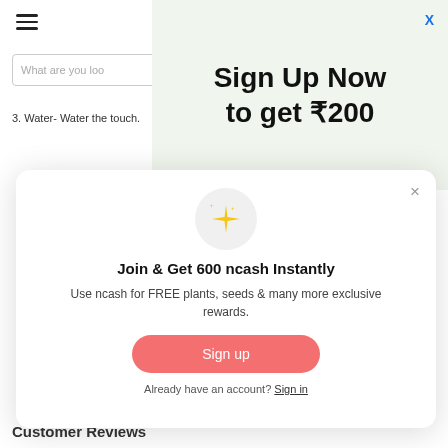[Figure (screenshot): Hamburger menu icon (three horizontal lines) in top left of app]
[Figure (screenshot): Search box with placeholder text 'What are you loo']
3. Water- Water the touch.
[Figure (infographic): Top ad banner overlay with light green background, blue X close button, bold text 'Sign Up Now to get ₹200']
[Figure (infographic): Center popup modal with sparkle emoji icon, title 'Join & Get 600 ncash Instantly', description about ncash rewards, pink Sign up button, and Sign in link]
Customer Reviews